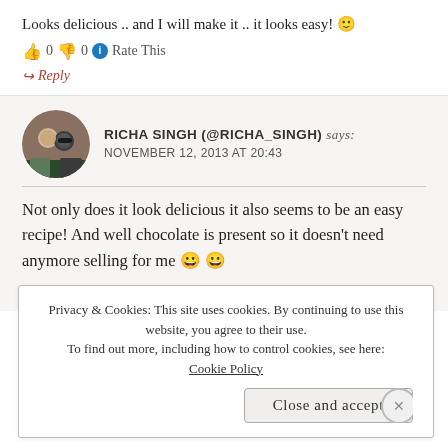Looks delicious .. and I will make it .. it looks easy! 🙂
👍 0 👎 0 ℹ Rate This
↪ Reply
RICHA SINGH (@RICHA_SINGH) says: NOVEMBER 12, 2013 AT 20:43
Not only does it look delicious it also seems to be an easy recipe! And well chocolate is present so it doesn't need anymore selling for me 😀 😀
Richa
Privacy & Cookies: This site uses cookies. By continuing to use this website, you agree to their use.
To find out more, including how to control cookies, see here: Cookie Policy
Close and accept